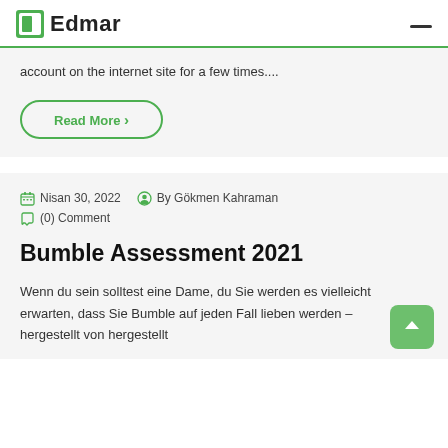Edmar
account on the internet site for a few times....
Read More >
Nisan 30, 2022   By Gökmen Kahraman   (0) Comment
Bumble Assessment 2021
Wenn du sein solltest eine Dame, du Sie werden es vielleicht erwarten, dass Sie Bumble auf jeden Fall lieben werden – hergestellt von hergestellt